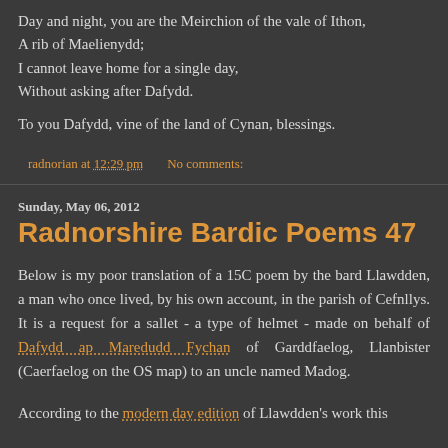Day and night, you are the Meirchion of the vale of Ithon,
A rib of Maelienydd;
I cannot leave home for a single day,
Without asking after Dafydd.
To you Dafydd, vine of the land of Cynan, blessings.
radnorian at 12:29 pm   No comments:
Sunday, May 06, 2012
Radnorshire Bardic Poems 47
Below is my poor translation of a 15C poem by the bard Llawdden, a man who once lived, by his own account, in the parish of Cefnllys. It is a request for a sallet - a type of helmet - made on behalf of Dafydd ap Maredudd Fychan of Garddfaelog, Llanbister (Caerfaelog on the OS map) to an uncle named Madog.
According to the modern day edition of Llawdden's work this